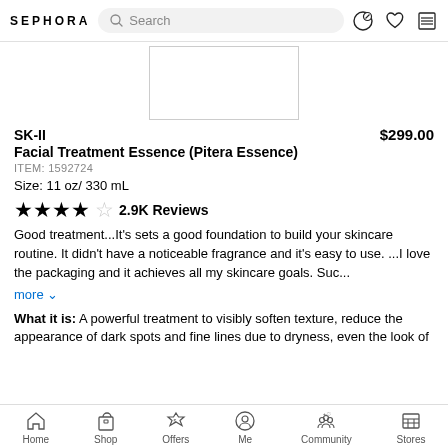SEPHORA — Search bar — icons
[Figure (photo): Product image placeholder box for SK-II Facial Treatment Essence]
SK-II    $299.00
Facial Treatment Essence (Pitera Essence)
ITEM: 1592724
Size: 11 oz/ 330 mL
★★★★☆ 2.9K Reviews
Good treatment...It's sets a good foundation to build your skincare routine. It didn't have a noticeable fragrance and it's easy to use. ...I love the packaging and it achieves all my skincare goals. Suc...
more ∨
What it is: A powerful treatment to visibly soften texture, reduce the appearance of dark spots and fine lines due to dryness, even the look of
Home  Shop  Offers  Me  Community  Stores